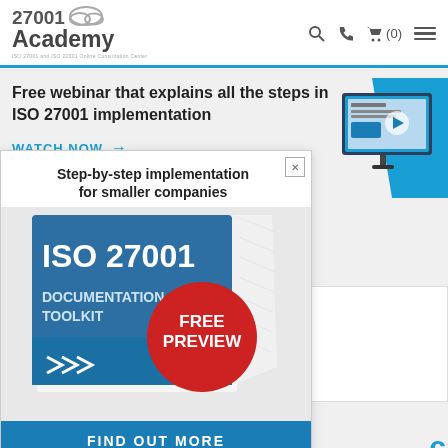[Figure (logo): 27001 Academy logo with cloud icon and tagline]
Free webinar that explains all the steps in ISO 27001 implementation
WATCH NOW →
[Figure (illustration): Computer/monitor illustration with ISO 27001 content on screen]
[Figure (illustration): Popup ad showing ISO 27001 Documentation Toolkit book with FREE PREVIEW badge]
Step-by-step implementation for smaller companies
ISO 27001 DOCUMENTATION TOOLKIT
FREE PREVIEW
FIND OUT MORE